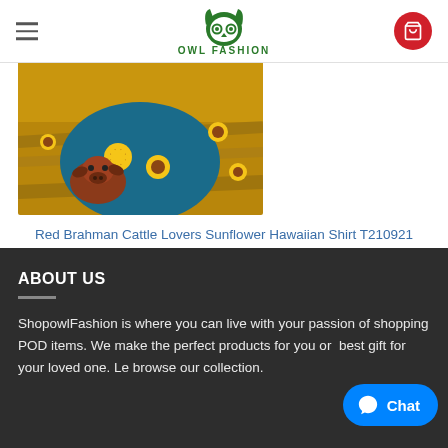[Figure (logo): Owl Fashion logo — green owl face icon above text OWL FASHION]
[Figure (photo): Product photo of a Hawaiian shirt with red Brahman cattle and sunflowers pattern, displayed on a person in a grassy sunflower field]
Red Brahman Cattle Lovers Sunflower Hawaiian Shirt T210921
From: $34.90
ABOUT US
ShopowlFashion is where you can live with your passion of shopping POD items. We make the perfect products for you or  best gift for your loved one. Le browse our collection.